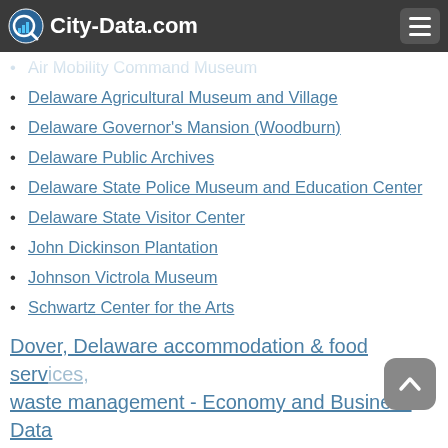City-Data.com
Air Mobility Command Museum
Delaware Agricultural Museum and Village
Delaware Governor's Mansion (Woodburn)
Delaware Public Archives
Delaware State Police Museum and Education Center
Delaware State Visitor Center
John Dickinson Plantation
Johnson Victrola Museum
Schwartz Center for the Arts
Sewell C. Biggs Museum of American Art
The State House Museum
Spence's Bazaar, Dover, DE - Dover, Delaware - 75 Year Traditional Market and Auction Attracts Buyers and Sellers Throughout The Year
Dover, Delaware accommodation & food services, waste management - Economy and Business Data